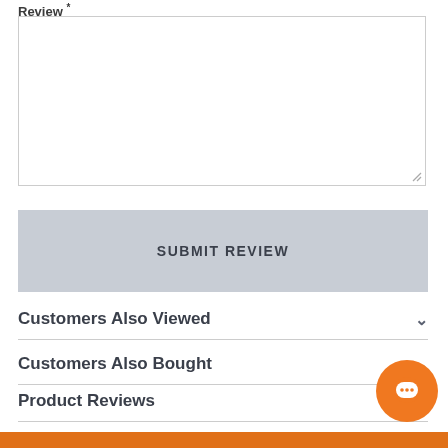Review *
[Figure (screenshot): Empty text area input box for writing a review]
SUBMIT REVIEW
Customers Also Viewed
Customers Also Bought
Product Reviews
[Figure (other): Orange circular chat/message button with speech bubble icon]